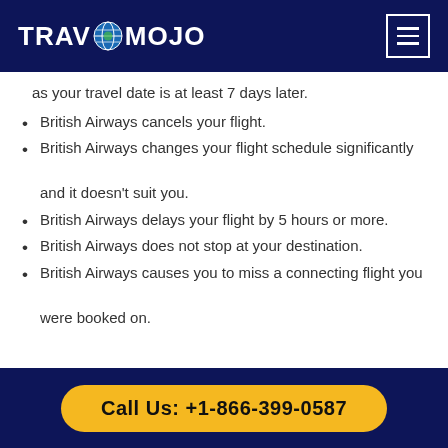TRAVOMOJO
as your travel date is at least 7 days later.
British Airways cancels your flight.
British Airways changes your flight schedule significantly and it doesn't suit you.
British Airways delays your flight by 5 hours or more.
British Airways does not stop at your destination.
British Airways causes you to miss a connecting flight you were booked on.
Call Us: +1-866-399-0587